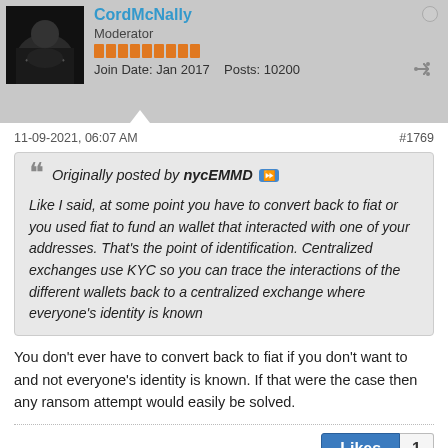CordMcNally Moderator Join Date: Jan 2017 Posts: 10200
11-09-2021, 06:07 AM #1769
Originally posted by nycEMMD
Like I said, at some point you have to convert back to fiat or you used fiat to fund an wallet that interacted with one of your addresses. That's the point of identification. Centralized exchanges use KYC so you can trace the interactions of the different wallets back to a centralized exchange where everyone's identity is known
You don't ever have to convert back to fiat if you don't want to and not everyone's identity is known. If that were the case then any ransom attempt would easily be solved.
Likes  1